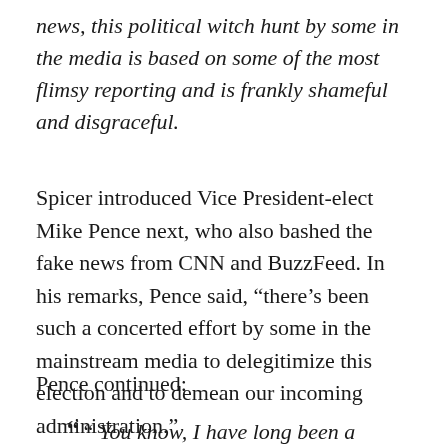news, this political witch hunt by some in the media is based on some of the most flimsy reporting and is frankly shameful and disgraceful.
Spicer introduced Vice President-elect Mike Pence next, who also bashed the fake news from CNN and BuzzFeed. In his remarks, Pence said, “there’s been such a concerted effort by some in the mainstream media to delegitimize this election and to demean our incoming administration.”
Pence continued:
““ You know, I have long been a supporter of a